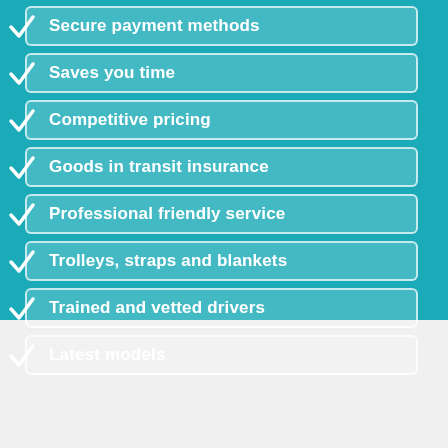Secure payment methods
Saves you time
Competitive pricing
Goods in transit insurance
Professional friendly service
Trolleys, straps and blankets
Trained and vetted drivers
Latest models